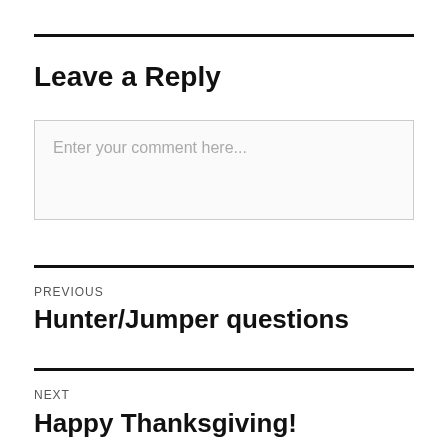Leave a Reply
Enter your comment here...
PREVIOUS
Hunter/Jumper questions
NEXT
Happy Thanksgiving!